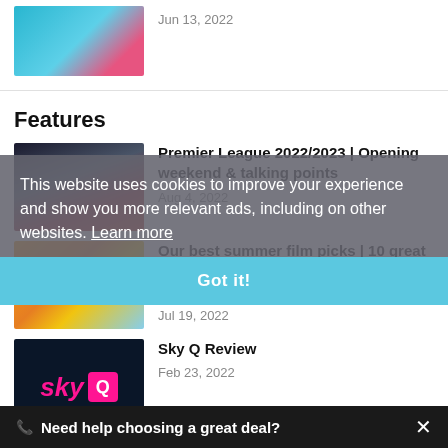[Figure (screenshot): Thumbnail image for article, teal/pink colored screenshot of TV remote/screen]
Jun 13, 2022
Features
[Figure (photo): Premier League players photo collage for article thumbnail]
Premier League 2022/2023 | Opening weekend & talking points
Aug 4, 2022
[Figure (photo): Summer film picks thumbnail - golden/blue tones with silhouette]
Our best summer film picks | 10 great movies to watch during the UK heatwave
Jul 19, 2022
[Figure (logo): Sky Q logo - dark blue background with pink sky text and Q box]
Sky Q Review
Feb 23, 2022
This website uses cookies to improve your experience and show you more relevant ads, including on other websites. Learn more
Got it!
Need help choosing a great deal?